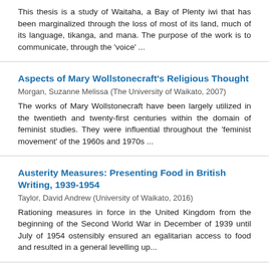This thesis is a study of Waitaha, a Bay of Plenty iwi that has been marginalized through the loss of most of its land, much of its language, tikanga, and mana. The purpose of the work is to communicate, through the 'voice' ...
Aspects of Mary Wollstonecraft's Religious Thought
Morgan, Suzanne Melissa (The University of Waikato, 2007)
The works of Mary Wollstonecraft have been largely utilized in the twentieth and twenty-first centuries within the domain of feminist studies. They were influential throughout the 'feminist movement' of the 1960s and 1970s ...
Austerity Measures: Presenting Food in British Writing, 1939-1954
Taylor, David Andrew (University of Waikato, 2016)
Rationing measures in force in the United Kingdom from the beginning of the Second World War in December of 1939 until July of 1954 ostensibly ensured an egalitarian access to food and resulted in a general levelling up...